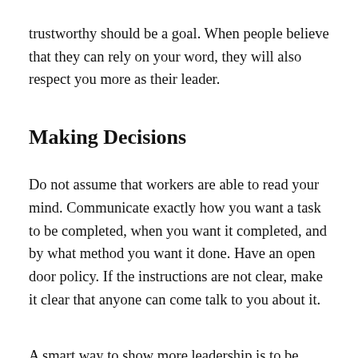trustworthy should be a goal. When people believe that they can rely on your word, they will also respect you more as their leader.
Making Decisions
Do not assume that workers are able to read your mind. Communicate exactly how you want a task to be completed, when you want it completed, and by what method you want it done. Have an open door policy. If the instructions are not clear, make it clear that anyone can come talk to you about it.
A smart way to show more leadership is to be